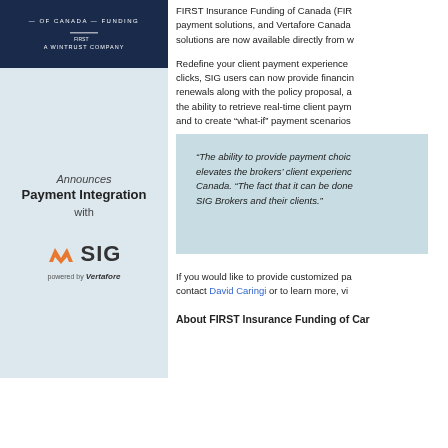[Figure (logo): FIRST Insurance Funding of Canada logo on dark navy background with 'of Canada' and 'Funding' text and 'A Wintrust Company' subtitle]
[Figure (logo): Announcement box: 'Announces Payment Integration with SIG powered by Vertafore' on light blue background with SIG logo featuring orange arrow icon]
FIRST Insurance Funding of Canada (FIR payment solutions, and Vertafore Canada solutions are now available directly from w
Redefine your client payment experience clicks, SIG users can now provide financing renewals along with the policy proposal, a the ability to retrieve real-time client paym and to create "what-if" payment scenarios
“The ability to provide payment choi elevates the brokers’ client experienc Canada. “The fact that it can be done SIG Brokers and their clients.”
If you would like to provide customized pa contact David Caringi or to learn more, vi
About FIRST Insurance Funding of Car